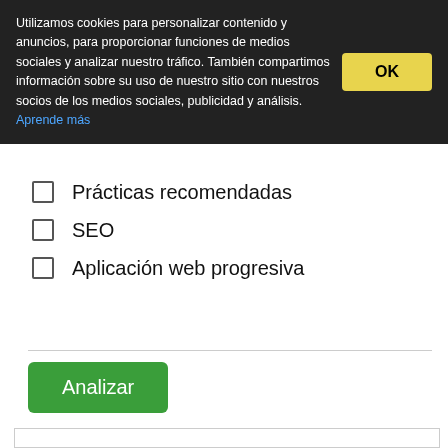Utilizamos cookies para personalizar contenido y anuncios, para proporcionar funciones de medios sociales y analizar nuestro tráfico. También compartimos información sobre su uso de nuestro sitio con nuestros socios de los medios sociales, publicidad y análisis. Aprende más
Prácticas recomendadas
SEO
Aplicación web progresiva
Analizar
Ingrese al modo de pantalla completa
Lighthouse Report Viewer
To view a report: Paste its json or a Gist URL.
You can also drag 'n drop the file or click